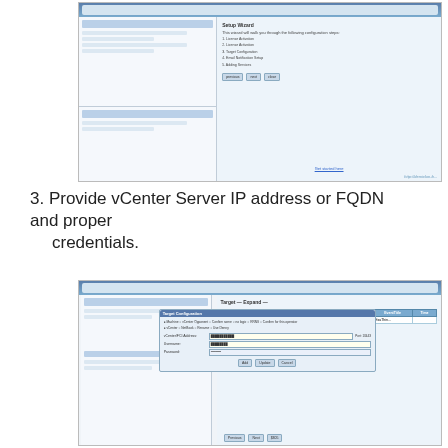[Figure (screenshot): Browser screenshot showing a vCenter plugin setup wizard with left navigation panel and right panel showing setup steps numbered 1-4]
3. Provide vCenter Server IP address or FQDN and proper credentials.
[Figure (screenshot): Browser screenshot showing a vCenter plugin page with a Target Configuration dialog box open, containing fields for vCenter Server IP address, Username, and Password with radio button options]